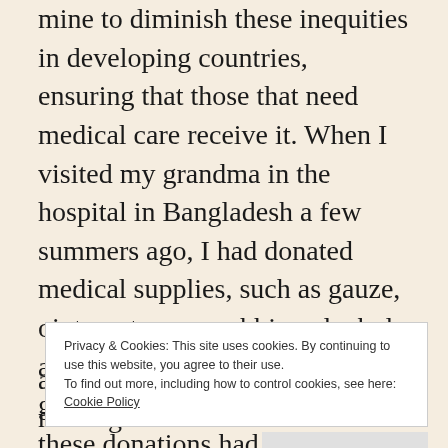mine to diminish these inequities in developing countries, ensuring that those that need medical care receive it. When I visited my grandma in the hospital in Bangladesh a few summers ago, I had donated medical supplies, such as gauze, ointment, soap, rubbing alcohol, and even sanitary pads for young girls. I witnessed the impact these donations had on the patients, bringing a smile to both the hospital staff and the families of the patients
Privacy & Cookies: This site uses cookies. By continuing to use this website, you agree to their use. To find out more, including how to control cookies, see here: Cookie Policy
Close and accept
ages. Teaching children and truly making an